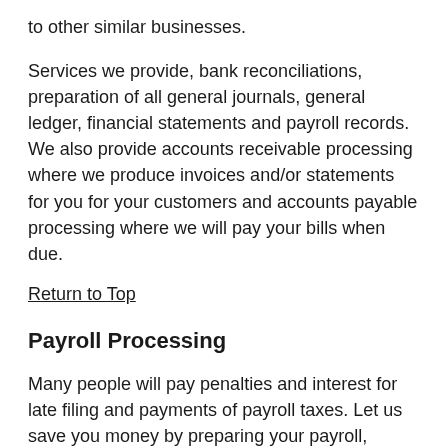to other similar businesses.
Services we provide, bank reconciliations, preparation of all general journals, general ledger, financial statements and payroll records. We also provide accounts receivable processing where we produce invoices and/or statements for you for your customers and accounts payable processing where we will pay your bills when due.
Return to Top
Payroll Processing
Many people will pay penalties and interest for late filing and payments of payroll taxes. Let us save you money by preparing your payroll, quarterly payroll reports and payroll tax deposits. We can process payroll checks or provide direct deposit payroll for employees making payday hassle free.